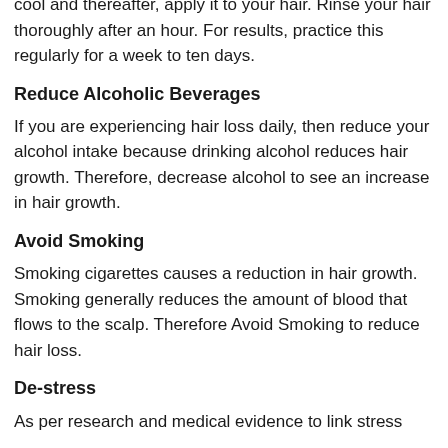cool and thereafter, apply it to your hair. Rinse your hair thoroughly after an hour. For results, practice this regularly for a week to ten days.
Reduce Alcoholic Beverages
If you are experiencing hair loss daily, then reduce your alcohol intake because drinking alcohol reduces hair growth. Therefore, decrease alcohol to see an increase in hair growth.
Avoid Smoking
Smoking cigarettes causes a reduction in hair growth. Smoking generally reduces the amount of blood that flows to the scalp. Therefore Avoid Smoking to reduce hair loss.
De-stress
As per research and medical evidence to link stress with hair loss. De-stress is one of the causes of…